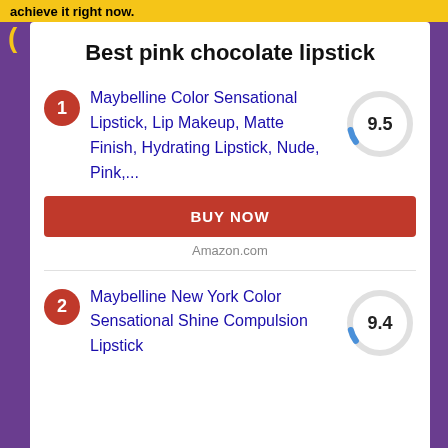Best pink chocolate lipstick
1. Maybelline Color Sensational Lipstick, Lip Makeup, Matte Finish, Hydrating Lipstick, Nude, Pink,... Score: 9.5
BUY NOW
Amazon.com
2. Maybelline New York Color Sensational Shine Compulsion Lipstick Score: 9.4